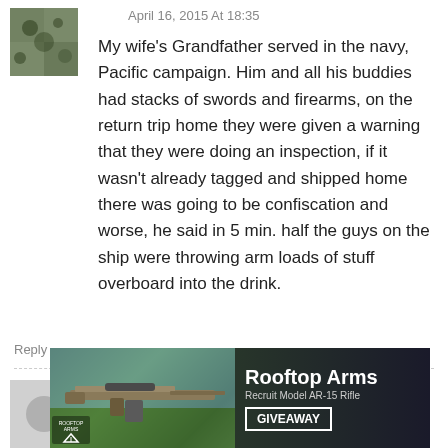April 16, 2015 At 18:35
My wife's Grandfather served in the navy, Pacific campaign. Him and all his buddies had stacks of swords and firearms, on the return trip home they were given a warning that they were doing an inspection, if it wasn't already tagged and shipped home there was going to be confiscation and worse, he said in 5 min. half the guys on the ship were throwing arm loads of stuff overboard into the drink.
Reply
John E>
[Figure (screenshot): Advertisement banner for Rooftop Arms showing an AR-15 rifle (Recruit Model AR-15 Rifle) with a GIVEAWAY button, dark green/black background, Rooftop Arms logo at bottom left]
ld barrel, at g. Worth well